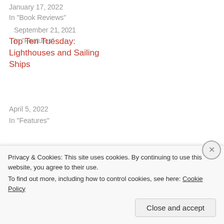January 17, 2022
In "Book Reviews"
September 21, 2021
In "Features"
Top Ten Tuesday: Lighthouses and Sailing Ships
April 5, 2022
In "Features"
Posted in: Book Reviews |
Tagged: book blogging, Book Reviews, books, reading
Privacy & Cookies: This site uses cookies. By continuing to use this website, you agree to their use.
To find out more, including how to control cookies, see here: Cookie Policy
Close and accept